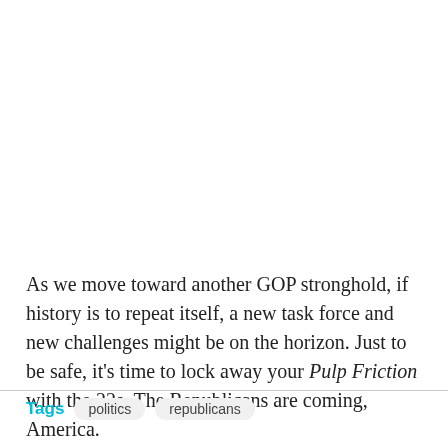As we move toward another GOP stronghold, if history is to repeat itself, a new task force and new challenges might be on the horizon. Just to be safe, it's time to lock away your Pulp Friction with the 22s. The Republicans are coming, America.
Tags  politics  republicans